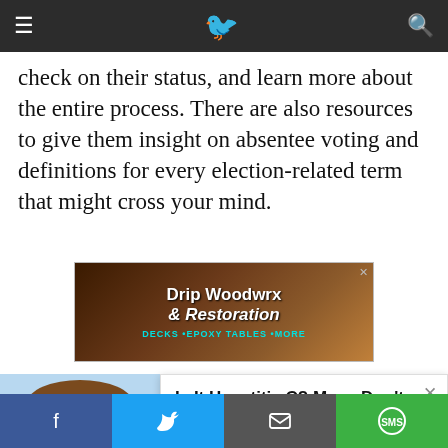≡  [logo]  🔍
check on their status, and learn more about the entire process. There are also resources to give them insight on absentee voting and definitions for every election-related term that might cross your mind.
[Figure (photo): Advertisement banner for 'Drip Woodwrx & Restoration' featuring wood decks, epoxy tables, and more with teal and brown wood imagery.]
James Franklin joined Penn State football's players
[Figure (illustration): Cartoon illustration of a person with brown hair smiling, on a light blue background.]
Is It Hepatitis C? Many Don't Realize Symptoms
Hep C Treatment | sponsored searches | Sponsored
f  [Twitter bird]  [envelope]  SMS